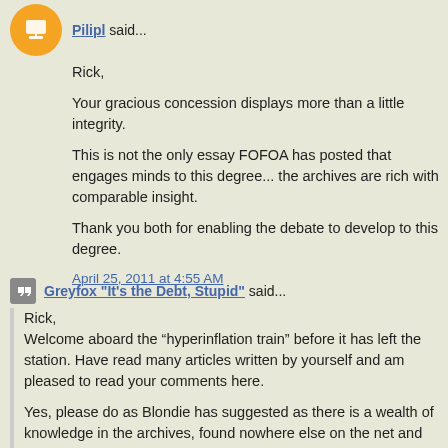Pilipl said...
Rick,

Your gracious concession displays more than a little integrity.

This is not the only essay FOFOA has posted that engages minds to this degree... the archives are rich with comparable insight.

Thank you both for enabling the debate to develop to this degree.
April 25, 2011 at 4:55 AM
Greyfox "It's the Debt, Stupid" said...
Rick,
Welcome aboard the “hyperinflation train” before it has left the station. Have read many articles written by yourself and am pleased to read your comments here.

Yes, please do as Blondie has suggested as there is a wealth of knowledge in the archives, found nowhere else on the net and explained in a manner in which all can understand. FOFOA has this wonderful ability to divide a subject into all the individual components and clarify each member. As concerning Blondie be advised that all of his comments are first class and well worth